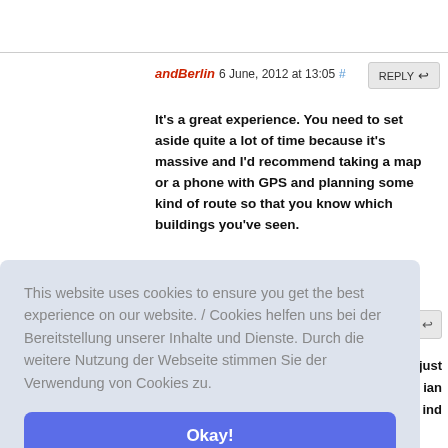andBerlin 6 June, 2012 at 13:05 #
REPLY
It's a great experience. You need to set aside quite a lot of time because it's massive and I'd recommend taking a map or a phone with GPS and planning some kind of route so that you know which buildings you've seen.
This website uses cookies to ensure you get the best experience on our website. / Cookies helfen uns bei der Bereitstellung unserer Inhalte und Dienste. Durch die weitere Nutzung der Webseite stimmen Sie der Verwendung von Cookies zu.
Okay!